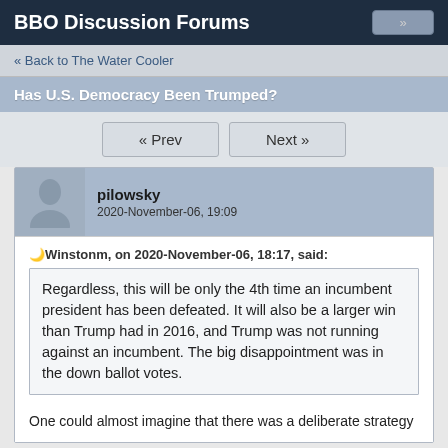BBO Discussion Forums
« Back to The Water Cooler
Has U.S. Democracy Been Trumped?
« Prev   Next »
pilowsky
2020-November-06, 19:09
Winstonm, on 2020-November-06, 18:17, said:
Regardless, this will be only the 4th time an incumbent president has been defeated. It will also be a larger win than Trump had in 2016, and Trump was not running against an incumbent. The big disappointment was in the down ballot votes.
One could almost imagine that there was a deliberate strategy